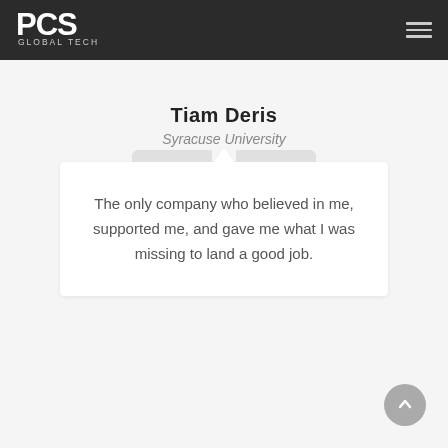PCS Global Tech
Tiam Deris
Syracuse University
The only company who believed in me, supported me, and gave me what I was missing to land a good job.